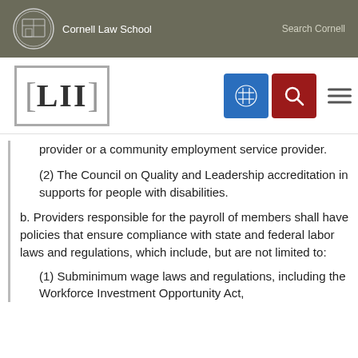Cornell Law School | Search Cornell
[Figure (logo): LII Legal Information Institute logo with navigation icons]
provider or a community employment service provider.
(2) The Council on Quality and Leadership accreditation in supports for people with disabilities.
b. Providers responsible for the payroll of members shall have policies that ensure compliance with state and federal labor laws and regulations, which include, but are not limited to:
(1) Subminimum wage laws and regulations, including the Workforce Investment Opportunity Act,